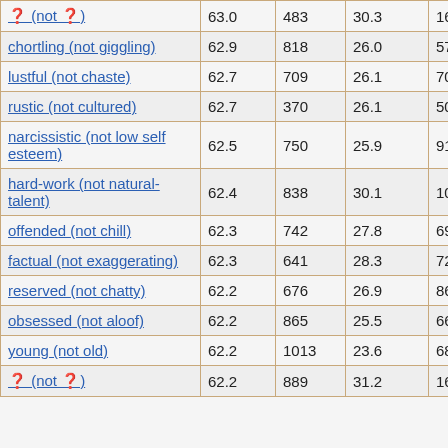| ? (not ?) | 63.0 | 483 | 30.3 | 168 |
| chortling (not giggling) | 62.9 | 818 | 26.0 | 57 |
| lustful (not chaste) | 62.7 | 709 | 26.1 | 70 |
| rustic (not cultured) | 62.7 | 370 | 26.1 | 50 |
| narcissistic (not low self esteem) | 62.5 | 750 | 25.9 | 91 |
| hard-work (not natural-talent) | 62.4 | 838 | 30.1 | 106 |
| offended (not chill) | 62.3 | 742 | 27.8 | 69 |
| factual (not exaggerating) | 62.3 | 641 | 28.3 | 72 |
| reserved (not chatty) | 62.2 | 676 | 26.9 | 86 |
| obsessed (not aloof) | 62.2 | 865 | 25.5 | 66 |
| young (not old) | 62.2 | 1013 | 23.6 | 68 |
| ? (not ?) | 62.2 | 889 | 31.2 | 168 |